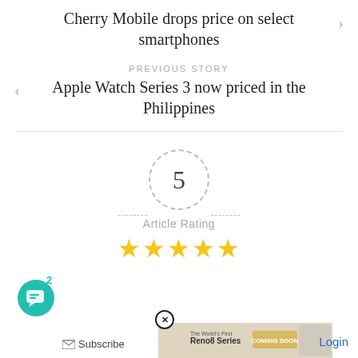Cherry Mobile drops price on select smartphones
PREVIOUS STORY
Apple Watch Series 3 now priced in the Philippines
[Figure (infographic): Article rating widget showing the number 5 in a dashed circle with dash lines on each side, 'Article Rating' label, and 5 gold stars below]
2
[Figure (other): Chat bubble icon in teal circle]
Subscribe
[Figure (other): OPPO Reno8 Series ad banner with COMING SOON text]
Login